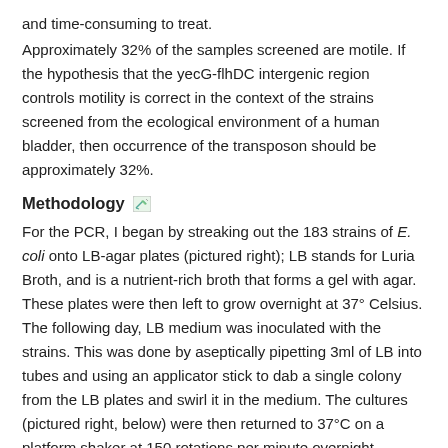and time-consuming to treat.
Approximately 32% of the samples screened are motile. If the hypothesis that the yecG-flhDC intergenic region controls motility is correct in the context of the strains screened from the ecological environment of a human bladder, then occurrence of the transposon should be approximately 32%.
Methodology
For the PCR, I began by streaking out the 183 strains of E. coli onto LB-agar plates (pictured right); LB stands for Luria Broth, and is a nutrient-rich broth that forms a gel with agar. These plates were then left to grow overnight at 37° Celsius. The following day, LB medium was inoculated with the strains. This was done by aseptically pipetting 3ml of LB into tubes and using an applicator stick to dab a single colony from the LB plates and swirl it in the medium. The cultures (pictured right, below) were then returned to 37°C on a platform shaker at 150 rotations per minute overnight (allowing DNA